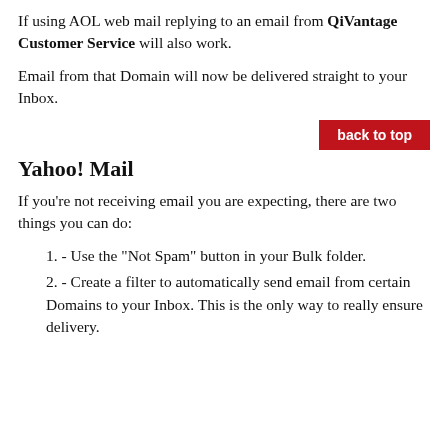If using AOL web mail replying to an email from QiVantage Customer Service will also work.
Email from that Domain will now be delivered straight to your Inbox.
back to top
Yahoo! Mail
If you're not receiving email you are expecting, there are two things you can do:
1. - Use the "Not Spam" button in your Bulk folder.
2. - Create a filter to automatically send email from certain Domains to your Inbox. This is the only way to really ensure delivery.